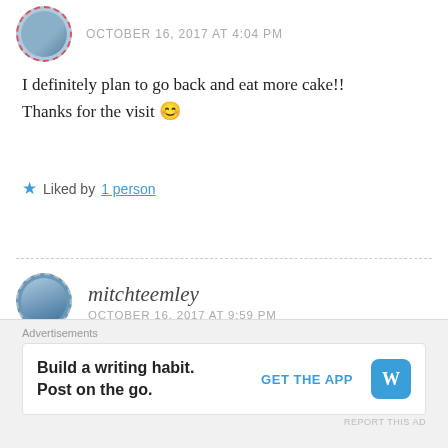OCTOBER 16, 2017 AT 4:04 PM
I definitely plan to go back and eat more cake!! Thanks for the visit 😊
Liked by 1 person
mitchteemley
OCTOBER 16, 2017 AT 9:59 PM
The mid-century stuff always reminds me of my childhood.
Advertisements
Build a writing habit. Post on the go.
GET THE APP